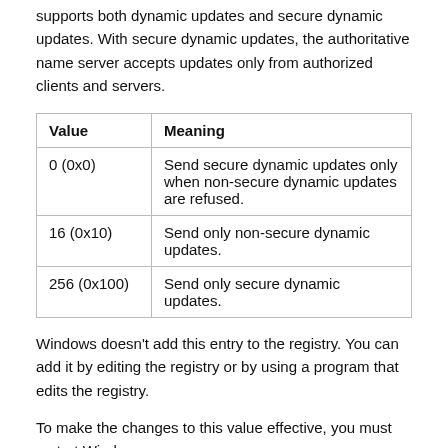supports both dynamic updates and secure dynamic updates. With secure dynamic updates, the authoritative name server accepts updates only from authorized clients and servers.
| Value | Meaning |
| --- | --- |
| 0 (0x0) | Send secure dynamic updates only when non-secure dynamic updates are refused. |
| 16 (0x10) | Send only non-secure dynamic updates. |
| 256 (0x100) | Send only secure dynamic updates. |
Windows doesn't add this entry to the registry. You can add it by editing the registry or by using a program that edits the registry.
To make the changes to this value effective, you must restart Windows.